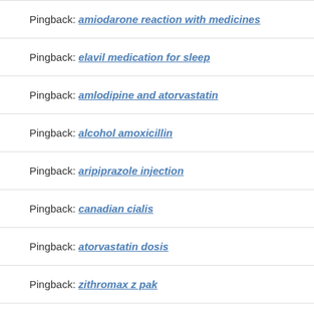Pingback: amiodarone reaction with medicines
Pingback: elavil medication for sleep
Pingback: amlodipine and atorvastatin
Pingback: alcohol amoxicillin
Pingback: aripiprazole injection
Pingback: canadian cialis
Pingback: atorvastatin dosis
Pingback: zithromax z pak